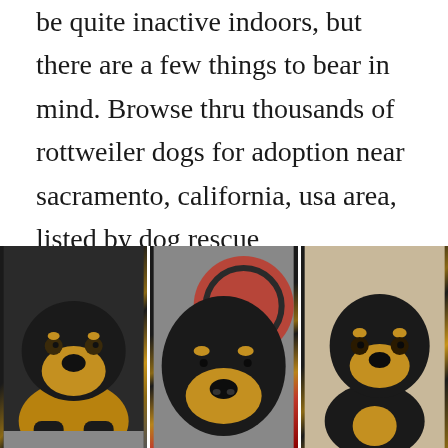be quite inactive indoors, but there are a few things to bear in mind. Browse thru thousands of rottweiler dogs for adoption near sacramento, california, usa area, listed by dog rescue organizations and individuals, to find your match. He's had his first initial vaccines.
[Figure (photo): Three Rottweiler puppies shown in a row of three photos side by side. Each puppy is black and tan, facing the camera. The left puppy has its paws forward, the middle puppy is a close-up face shot, the right puppy is sitting slightly turned.]